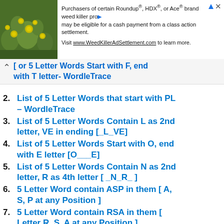[Figure (photo): Advertisement banner with a photo of yellow flowers on green foliage on the left, and text on the right reading: 'Purchasers of certain Roundup®, HDX®, or Ace® brand weed killer products may be eligible for a cash payment from a class action settlement. Visit www.WeedKillerAdSettlement.com to learn more.']
[or 5 Letter Words Start with F, end with T letter- WordleTrace
2. List of 5 Letter Words that start with PL – WordleTrace
3. List of 5 Letter Words Contain L as 2nd letter, VE in ending [_L_VE]
4. List of 5 Letter Words Start with O, end with E letter [O___E]
5. List of 5 Letter Words Contain N as 2nd letter, R as 4th letter [ _N_R_ ]
6. 5 Letter Word contain ASP in them [ A, S, P at any Position ]
7. 5 Letter Word contain RSA in them [ Letter R, S, A at any Position ]
8. 5 Letter Word contain CSA in them [ Letter C, S, A at any Position ]